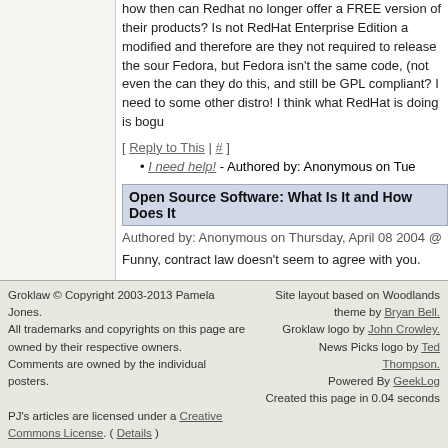how then can Redhat no longer offer a FREE version of their products? Is not RedHat Enterprise Edition a modified version and therefore are they not required to release the sour... Fedora, but Fedora isn't the same code, (not even the same) can they do this, and still be GPL compliant? I need to some other distro! I think what RedHat is doing is bogu
[ Reply to This | # ]
I need help! - Authored by: Anonymous on Tue
Open Source Software: What Is It and How Does It
Authored by: Anonymous on Thursday, April 08 2004 @
Funny, contract law doesn't seem to agree with you.
This sounds more like the weaseling excuses that kids come up with to try and ba trouble with their parents.
A contract is a contract, a license is a license.
Nuff said.
[ Reply to This | # ]
Groklaw © Copyright 2003-2013 Pamela Jones. All trademarks and copyrights on this page are owned by their respective owners. Comments are owned by the individual posters. PJ's articles are licensed under a Creative Commons License. ( Details ) Site layout based on Woodlands theme by Bryan Bell. Groklaw logo by John Crowley. News Picks logo by Ted Thompson. Powered By GeekLog. Created this page in 0.04 seconds